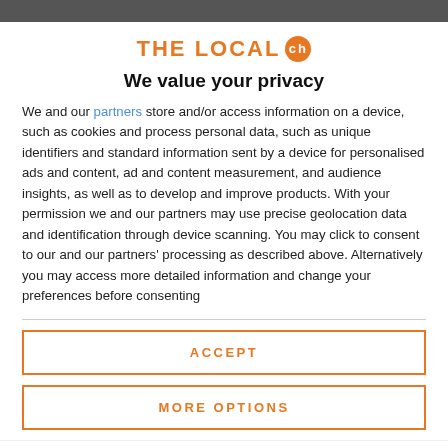[Figure (logo): THE LOCAL ch logo in orange with a circular badge containing 'ch']
We value your privacy
We and our partners store and/or access information on a device, such as cookies and process personal data, such as unique identifiers and standard information sent by a device for personalised ads and content, ad and content measurement, and audience insights, as well as to develop and improve products. With your permission we and our partners may use precise geolocation data and identification through device scanning. You may click to consent to our and our partners' processing as described above. Alternatively you may access more detailed information and change your preferences before consenting
ACCEPT
MORE OPTIONS
towns if you work in Basel